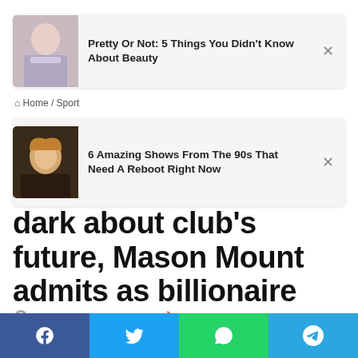[Figure (other): Ad card 1: thumbnail of a plus-size woman in a denim outfit with text 'Pretty Or Not: 5 Things You Didn't Know About Beauty' and a close X button]
Home / Sport
[Figure (other): Ad card 2: thumbnail of a blonde woman in a dark scene with text '6 Amazing Shows From The 90s That Need A Reboot Right Now' and a close X button]
…sea players are in the dark about club's future, Mason Mount admits as billionaire bidder to replace Abramovich
Ashley · March 27, 2022 🔥 13
[Figure (other): Social share bar with Facebook, Twitter, WhatsApp, and Telegram buttons]